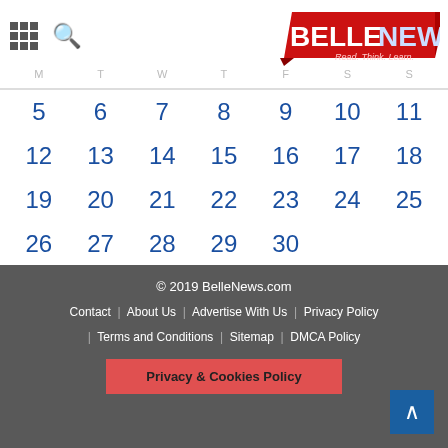BELLENEWS - Read. Think. Learn.
| M | T | W | T | F | S | S |
| --- | --- | --- | --- | --- | --- | --- |
| 5 | 6 | 7 | 8 | 9 | 10 | 11 |
| 12 | 13 | 14 | 15 | 16 | 17 | 18 |
| 19 | 20 | 21 | 22 | 23 | 24 | 25 |
| 26 | 27 | 28 | 29 | 30 |  |  |
« Oct   Dec »
© 2019 BelleNews.com | Contact | About Us | Advertise With Us | Privacy Policy | Terms and Conditions | Sitemap | DMCA Policy | Privacy & Cookies Policy